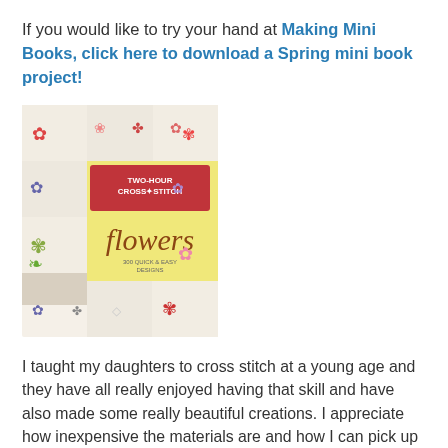If you would like to try your hand at Making Mini Books, click here to download a Spring mini book  project!
[Figure (photo): Book cover of 'Two-Hour Cross-Stitch Flowers: 300 Quick & Easy Designs' showing a collage of colorful cross-stitch flower patterns on a light background with a yellow center panel.]
I taught my daughters to cross stitch at a young age and they have all really enjoyed having that skill and have also made some really beautiful creations. I appreciate how inexpensive the materials are and how I can pick up right where I left off with the project...